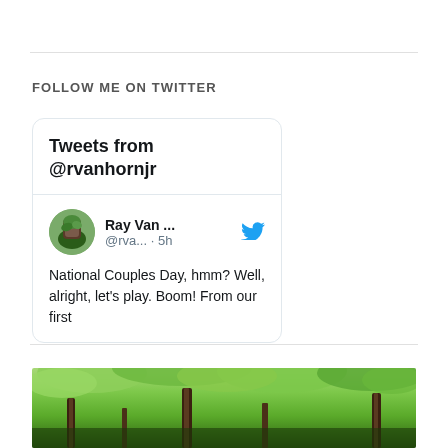FOLLOW ME ON TWITTER
[Figure (screenshot): Twitter widget showing 'Tweets from @rvanhornjr' with a tweet from Ray Van ... (@rva...) posted 5 hours ago: 'National Couples Day, hmm? Well, alright, let's play. Boom! From our first']
[Figure (photo): Photo of trees in a forest with green foliage canopy, taken from below looking up]